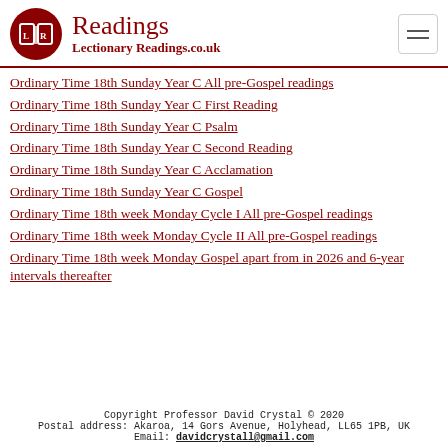Readings — LectionaryReadings.co.uk
Ordinary Time 18th Sunday Year C All pre-Gospel readings
Ordinary Time 18th Sunday Year C First Reading
Ordinary Time 18th Sunday Year C Psalm
Ordinary Time 18th Sunday Year C Second Reading
Ordinary Time 18th Sunday Year C Acclamation
Ordinary Time 18th Sunday Year C Gospel
Ordinary Time 18th week Monday Cycle I All pre-Gospel readings
Ordinary Time 18th week Monday Cycle II All pre-Gospel readings
Ordinary Time 18th week Monday Gospel apart from in 2026 and 6-year intervals thereafter
Copyright Professor David Crystal © 2020
Postal address: Akaroa, 14 Gors Avenue, Holyhead, LL65 1PB, UK
Email: davidcrystall@gmail.com